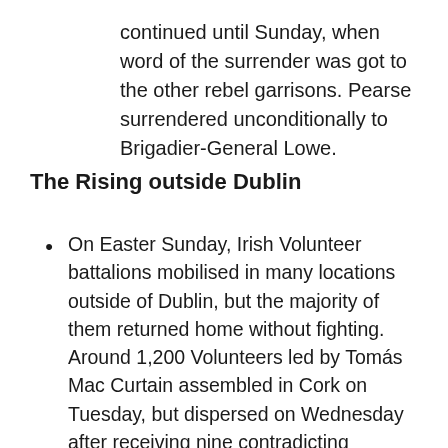continued until Sunday, when word of the surrender was got to the other rebel garrisons. Pearse surrendered unconditionally to Brigadier-General Lowe.
The Rising outside Dublin
On Easter Sunday, Irish Volunteer battalions mobilised in many locations outside of Dublin, but the majority of them returned home without fighting. Around 1,200 Volunteers led by Tomás Mac Curtain assembled in Cork on Tuesday, but dispersed on Wednesday after receiving nine contradicting